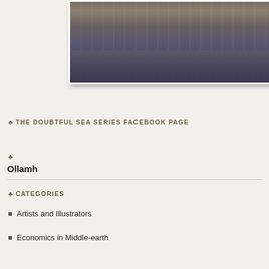[Figure (photo): A street scene photograph showing a wide road or plaza with people and possibly vehicles, taken from an elevated angle. The pavement has crosswalk markings. Dark shadows are visible on the ground.]
♣ THE DOUBTFUL SEA SERIES FACEBOOK PAGE
♣
Ollamh
♣ CATEGORIES
Artists and Illustrators
Economics in Middle-earth